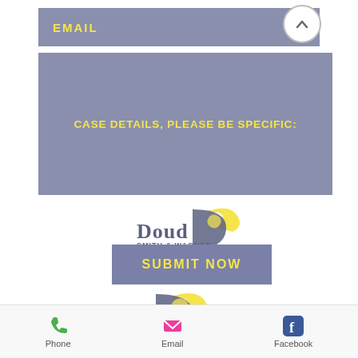EMAIL
CASE DETAILS, PLEASE BE SPECIFIC:
[Figure (logo): Doud Smith & Wagner law firm logo with Michigan outline and arrow motif, small version above submit button]
SUBMIT NOW
[Figure (logo): Doud Smith & Wagner law firm logo with Michigan outline and arrow motif, large version]
[Figure (infographic): Social media icons: Facebook, Twitter, Instagram, YouTube]
Phone   Email   Facebook